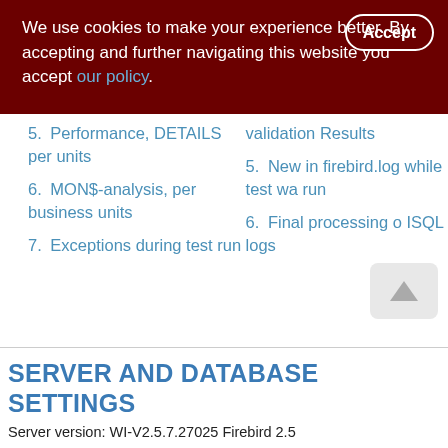We use cookies to make your experience better. By accepting and further navigating this website you accept our policy.
5. Performance, DETAILS per units
6. MON$-analysis, per business units
7. Exceptions during test run
validation Results
5. New in firebird.log while test was run
6. Final processing of ISQL logs
SERVER AND DATABASE SETTINGS
Server version: WI-V2.5.7.27025 Firebird 2.5